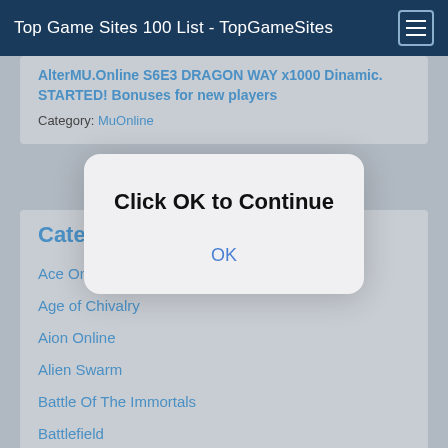Top Game Sites 100 List - TopGameSites
AlterMU.Online S6E3 DRAGON WAY x1000 Dinamic. STARTED! Bonuses for new players
Category: MuOnline
Categories
Ace Online
Age of Chivalry
Aion Online
Alien Swarm
Battle Of The Immortals
Battlefield
Cabal Online
[Figure (screenshot): Modal dialog box with text 'Click OK to Continue' and an OK button]